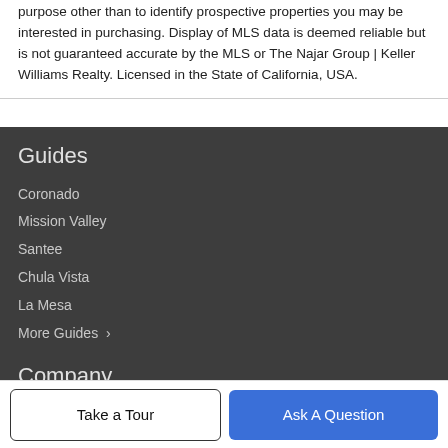purpose other than to identify prospective properties you may be interested in purchasing. Display of MLS data is deemed reliable but is not guaranteed accurate by the MLS or The Najar Group | Keller Williams Realty. Licensed in the State of California, USA.
Guides
Coronado
Mission Valley
Santee
Chula Vista
La Mesa
More Guides ›
Company
Our The Team
Take a Tour
Ask A Question